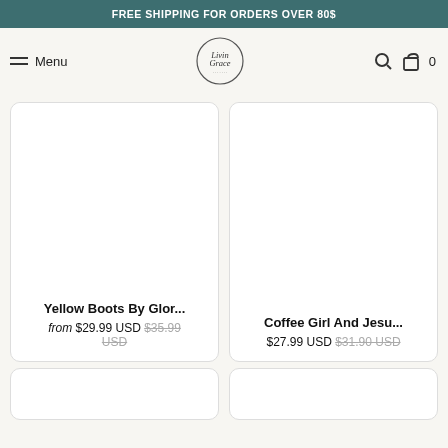FREE SHIPPING FOR ORDERS OVER 80$
Menu
[Figure (logo): LivinGrace circular script logo]
Yellow Boots By Glor... from $29.99 USD $35.99 USD
Coffee Girl And Jesu... $27.99 USD $31.90 USD